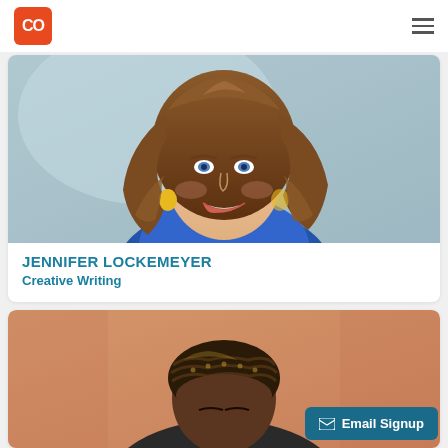[Figure (logo): CO logo in orange rounded square]
[Figure (photo): Jennifer Lockemeyer headshot - smiling woman with curly brown hair and blue top against light blue background]
JENNIFER LOCKEMEYER
Creative Writing
[Figure (photo): Second person headshot - person with braided hair against warm tan/peach background, partially visible]
Email Signup